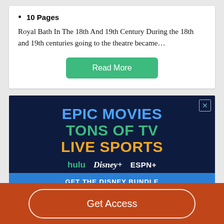10 Pages
Royal Bath In The 18th And 19th Century During the 18th and 19th centuries going to the theatre became…
Read More
[Figure (infographic): Advertisement banner for Disney Bundle (Hulu, Disney+, ESPN+) with dark navy background. Text reads: EPIC MOVIES (blue), TONS OF TV (green), LIVE SPORTS (orange/gold), with Hulu, Disney+, and ESPN+ logos, and a blue CTA bar at the bottom partially visible.]
Get Access